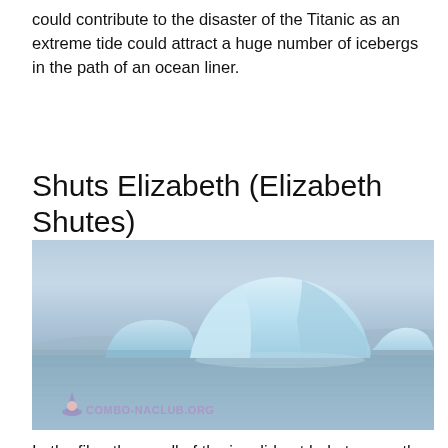could contribute to the disaster of the Titanic as an extreme tide could attract a huge number of icebergs in the path of an ocean liner.
Shuts Elizabeth (Elizabeth Shutes)
[Figure (photo): Photograph of large icebergs floating on calm, misty blue-grey water. The main iceberg is a large tabular iceberg with white and light blue coloring. A watermark reads 'COMBO-NACLUB.ORG' with a wizard/witch hat icon in purple.]
In the film, the smell of the ice did not help to save the